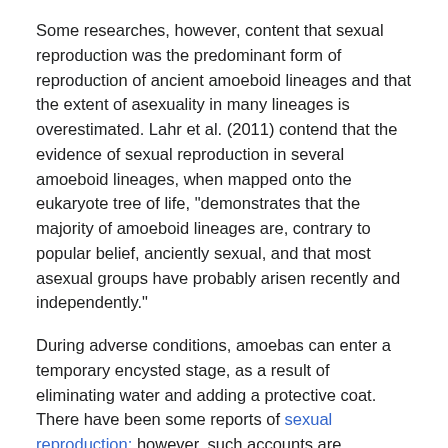Some researches, however, content that sexual reproduction was the predominant form of reproduction of ancient amoeboid lineages and that the extent of asexuality in many lineages is overestimated. Lahr et al. (2011) contend that the evidence of sexual reproduction in several amoeboid lineages, when mapped onto the eukaryote tree of life, "demonstrates that the majority of amoeboid lineages are, contrary to popular belief, anciently sexual, and that most asexual groups have probably arisen recently and independently."
During adverse conditions, amoebas can enter a temporary encysted stage, as a result of eliminating water and adding a protective coat. There have been some reports of sexual reproduction; however, such accounts are unconfirmed.
Amoeba and human disease
The most bot...